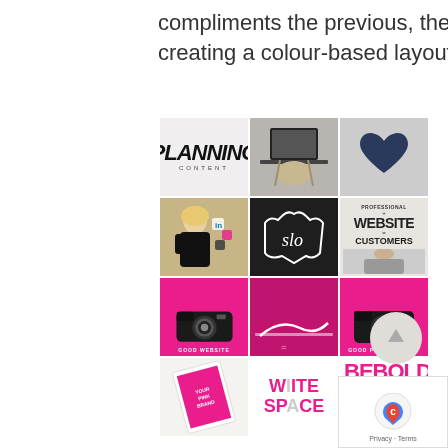compliments the previous, therefore creating a colour-based layout.
[Figure (screenshot): 3x4 grid of Instagram-style social media images including content planning graphic, laptop photo, heart, woman with social media icons, SLO chalkboard, professional website equals customers graphic, pink camera images, white space typography, be bold typography, tablet device]
[Figure (other): Circular up-arrow navigation button]
[Figure (other): Privacy Terms reCAPTCHA badge]